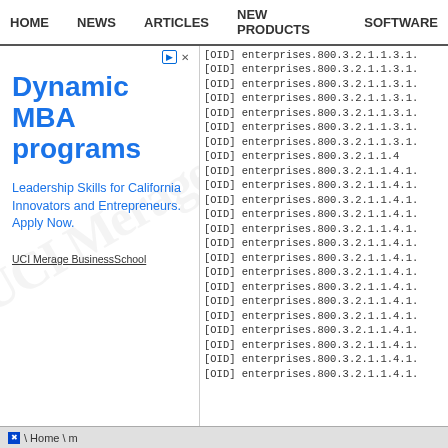HOME  NEWS  ARTICLES  NEW PRODUCTS  SOFTWARE
[Figure (other): Advertisement for UCI Merage BusinessSchool - Dynamic MBA programs. Leadership Skills for California Innovators and Entrepreneurs. Apply Now.]
[OID] enterprises.800.3.2.1.1.3.1.
[OID] enterprises.800.3.2.1.1.3.1.
[OID] enterprises.800.3.2.1.1.3.1.
[OID] enterprises.800.3.2.1.1.3.1.
[OID] enterprises.800.3.2.1.1.3.1.
[OID] enterprises.800.3.2.1.1.3.1.
[OID] enterprises.800.3.2.1.1.3.1.
[OID] enterprises.800.3.2.1.1.4
[OID] enterprises.800.3.2.1.1.4.1.
[OID] enterprises.800.3.2.1.1.4.1.
[OID] enterprises.800.3.2.1.1.4.1.
[OID] enterprises.800.3.2.1.1.4.1.
[OID] enterprises.800.3.2.1.1.4.1.
[OID] enterprises.800.3.2.1.1.4.1.
[OID] enterprises.800.3.2.1.1.4.1.
[OID] enterprises.800.3.2.1.1.4.1.
[OID] enterprises.800.3.2.1.1.4.1.
[OID] enterprises.800.3.2.1.1.4.1.
[OID] enterprises.800.3.2.1.1.4.1.
[OID] enterprises.800.3.2.1.1.4.1.
[OID] enterprises.800.3.2.1.1.4.1.
[OID] enterprises.800.3.2.1.1.4.1.
[OID] enterprises.800.3.2.1.1.4.1.
\ Home \ m